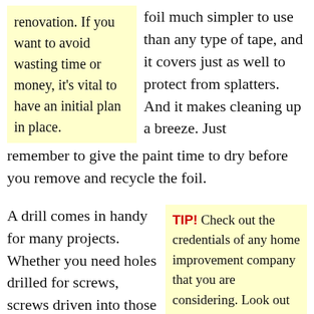renovation. If you want to avoid wasting time or money, it's vital to have an initial plan in place.
foil much simpler to use than any type of tape, and it covers just as well to protect from splatters. And it makes cleaning up a breeze. Just remember to give the paint time to dry before you remove and recycle the foil.
A drill comes in handy for many projects. Whether you need holes drilled for screws, screws driven into those holes or many other uses, your drill is the tool. Aim to use a cordless drill that is battery-powered with 9 volts and drill bits that are 1/32 all the way up to 1/4
TIP! Check out the credentials of any home improvement company that you are considering. Look out for this major warning sign: any company that won't provide you with a physical address should be avoided.